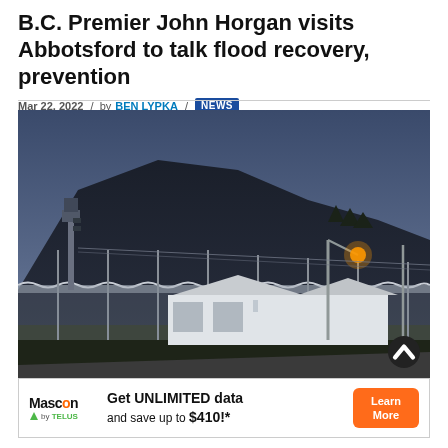B.C. Premier John Horgan visits Abbotsford to talk flood recovery, prevention
Mar 22, 2022 / by BEN LYPKA / NEWS
[Figure (photo): Exterior photograph of a correctional facility at dusk with security fencing topped with razor wire, security towers, floodlights, white buildings, and a dark mountain ridge in the background under a blue-grey sky.]
Get UNLIMITED data and save up to $410!* — Mascon by TELUS advertisement with Learn More button